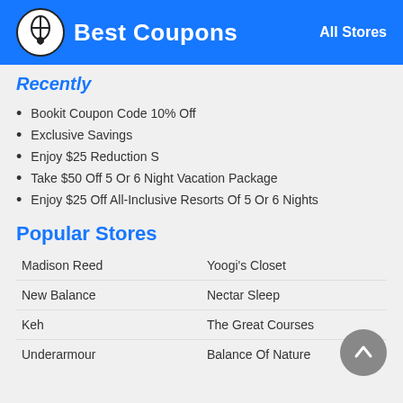Best Coupons | All Stores
Recently
Bookit Coupon Code 10% Off
Exclusive Savings
Enjoy $25 Reduction S
Take $50 Off 5 Or 6 Night Vacation Package
Enjoy $25 Off All-Inclusive Resorts Of 5 Or 6 Nights
Popular Stores
Madison Reed | Yoogi's Closet | New Balance | Nectar Sleep | Keh | The Great Courses | Underarmour | Balance Of Nature